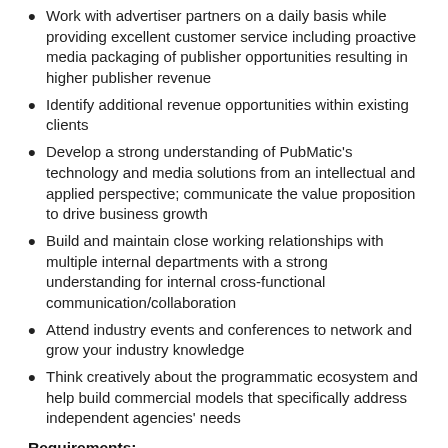Work with advertiser partners on a daily basis while providing excellent customer service including proactive media packaging of publisher opportunities resulting in higher publisher revenue
Identify additional revenue opportunities within existing clients
Develop a strong understanding of PubMatic's technology and media solutions from an intellectual and applied perspective; communicate the value proposition to drive business growth
Build and maintain close working relationships with multiple internal departments with a strong understanding for internal cross-functional communication/collaboration
Attend industry events and conferences to network and grow your industry knowledge
Think creatively about the programmatic ecosystem and help build commercial models that specifically address independent agencies' needs
Requirements:
5-8 years applicable experience in either Business Development, Account Management, Relationship Management or Sales roles in the online industry with proven experience and success selling Programmatic offerings into